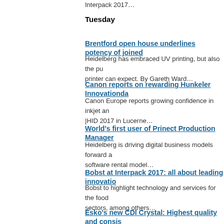Interpack 2017…
Tuesday
Brentford open house underlines potency of joined…
Heidelberg has embraced UV printing, but also the pu… printer can expect. By Gareth Ward…
Canon reports on rewarding Hunkeler Innovationda…
Canon Europe reports growing confidence in inkjet an… |HID 2017 in Lucerne…
World's first user of Prinect Production Manager
Heidelberg is driving digital business models forward a… software rental model…
Bobst at Interpack 2017: all about leading innovatio…
Bobst to highlight technology and services for the food… sectors, among others…
Esko's new CDI Crystal: Highest quality and consis…
Inci.Flex increases quality & production capacity with n…